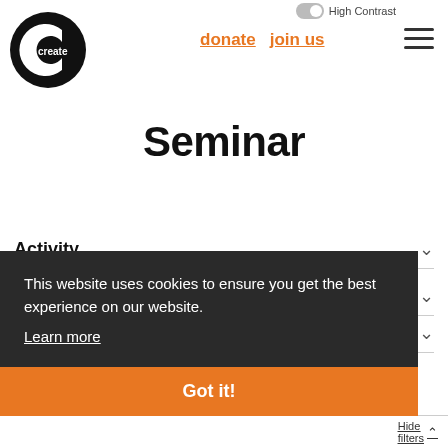High Contrast | donate | join us
[Figure (logo): Create logo: black circle with white C shape and 'create' text in white]
Seminar
Activity
This website uses cookies to ensure you get the best experience on our website.
Learn more
Got it!
Hide filters